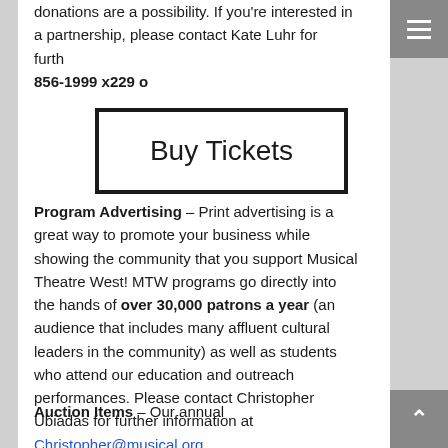donations are a possibility.  If you're interested in a partnership, please contact Kate Luhr for further information at 500-856-1999 x229 o…
[Figure (other): Buy Tickets button — a rectangle with thick black border containing the text 'Buy Tickets' in large serif-style font]
Program Advertising – Print advertising is a great way to promote your business while showing the community that you support Musical Theatre West! MTW programs go directly into the hands of over 30,000 patrons a year (an audience that includes many affluent cultural leaders in the community) as well as students who attend our education and outreach performances.  Please contact Christopher Ubiadas for further information at Christopher@musical.org.
Auction Items – Our annual